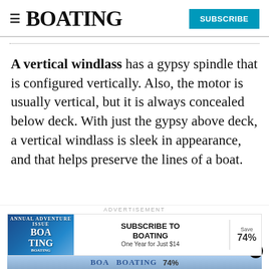BOATING | SUBSCRIBE
A vertical windlass has a gypsy spindle that is configured vertically. Also, the motor is usually vertical, but it is always concealed below deck. With just the gypsy above deck, a vertical windlass is sleek in appearance, and that helps preserve the lines of a boat.
ADVERTISEMENT
[Figure (other): Advertisement banner for BOATING magazine subscription: Subscribe to Boating, One Year for Just $14, Save 74%]